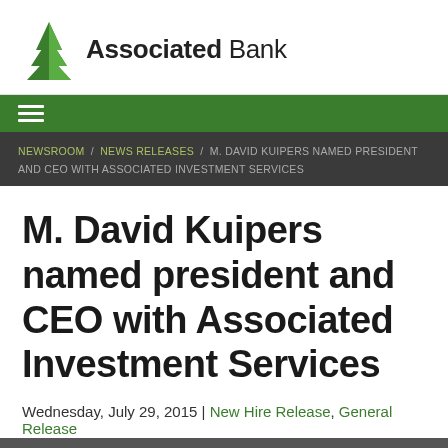[Figure (logo): Associated Bank logo with green tree icon and wordmark 'Associated Bank']
≡ (navigation menu icon)
NEWSROOM / NEWS RELEASES / M. DAVID KUIPERS NAMED PRESIDENT AND CEO WITH ASSOCIATED INVESTMENT SERVICES
M. David Kuipers named president and CEO with Associated Investment Services
Wednesday, July 29, 2015 | New Hire Release, General Release